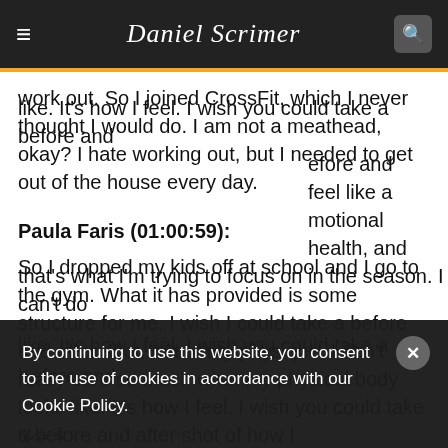Daniel Scrimer — navigation bar with hamburger menu and search icon
work out. So I joined CrossFit, which I never thought I would do. I am not a meathead, okay? I hate working out, but I needed to get out of the house every day.
Paula Faris (01:00:59):
So I dropped my kids off at school and I go to the gym. What it has provided is some structure for me. I wish I could take a before and after shot, not of my physique. I don't really care so much what my physical body looks like. It's how I feel. I wish you could take a before and after shot of how I feel like a complete person. Emotional health, and that's what I'm trying to focus on in the season. I can't do
By continuing to use this website, you consent to the use of cookies in accordance with our Cookie Policy.